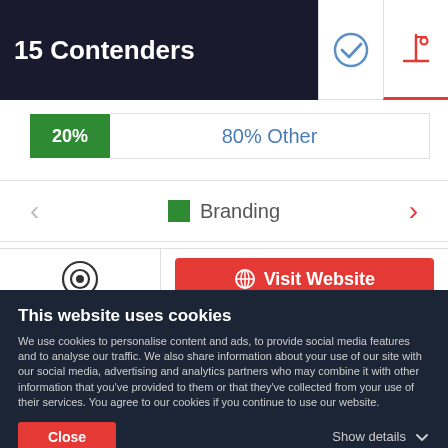15 Contenders
[Figure (infographic): Progress bar showing 20% green and 80% Other in blue text]
Branding
[Figure (infographic): Radio button icon on left, Visit Website button on right]
This website uses cookies
We use cookies to personalise content and ads, to provide social media features and to analyse our traffic. We also share information about your use of our site with our social media, advertising and analytics partners who may combine it with other information that you've provided to them or that they've collected from your use of their services. You agree to our cookies if you continue to use our website.
Close
Show details